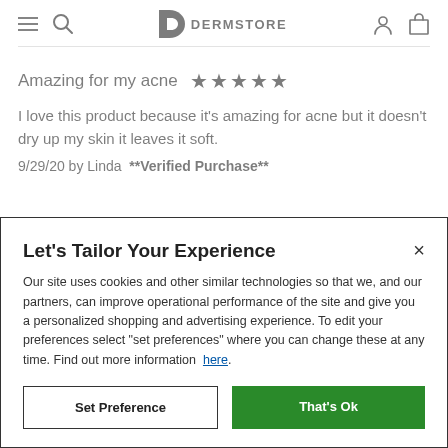DERMSTORE navigation header
Amazing for my acne ★★★★★
I love this product because it's amazing for acne but it doesn't dry up my skin it leaves it soft.
9/29/20 by Linda  **Verified Purchase**
Let's Tailor Your Experience
Our site uses cookies and other similar technologies so that we, and our partners, can improve operational performance of the site and give you a personalized shopping and advertising experience. To edit your preferences select "set preferences" where you can change these at any time. Find out more information here.
Set Preference
That's Ok